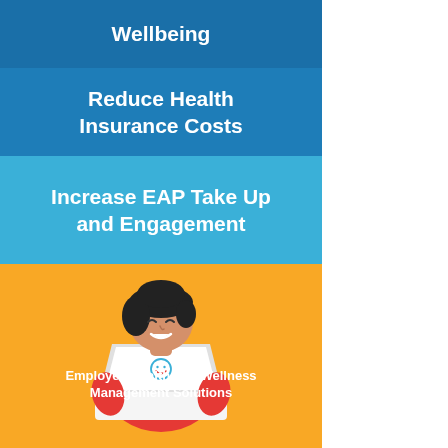Wellbeing
Reduce Health Insurance Costs
Increase EAP Take Up and Engagement
[Figure (illustration): Illustration of a smiling person with dark hair sitting behind a white laptop with a smiley face icon on the screen, on an orange background]
Employee Health and Wellness Management Solutions
DEMO NOW